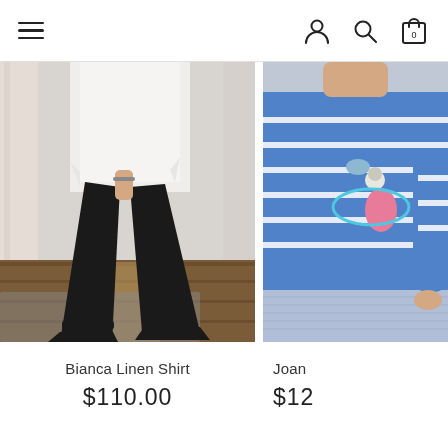Navigation header with hamburger menu, user icon, search icon, and cart icon (0 items)
[Figure (photo): Woman wearing black flare pants with white shirt and black sandals on a wooden floor background. Product: Bianca Linen Shirt.]
Bianca Linen Shirt
$110.00
[Figure (photo): Person wearing a blue long-sleeve sweater with white stripe and illustrated bird/character design, with light blue textured bottoms. Product: Joan (partially visible).]
Joan
$12